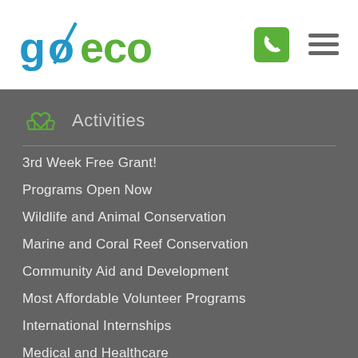goeco — header with logo, phone icon, hamburger menu
Activities
3rd Week Free Grant!
Programs Open Now
Wildlife and Animal Conservation
Marine and Coral Reef Conservation
Community Aid and Development
Most Affordable Volunteer Programs
International Internships
Medical and Healthcare
Volunteer with Children
Teach English Abroad